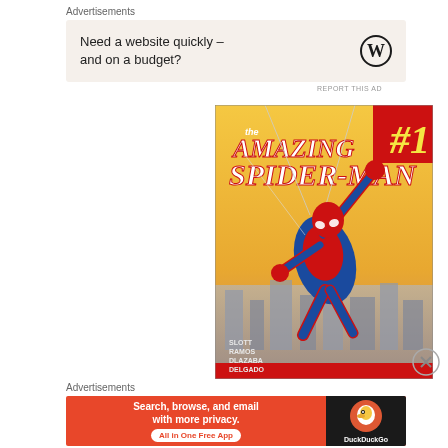Advertisements
[Figure (illustration): Advertisement banner with beige background reading 'Need a website quickly – and on a budget?' with a WordPress logo on the right]
REPORT THIS AD
[Figure (illustration): The Amazing Spider-Man #1 comic book cover showing Spider-Man in blue and red suit swinging with web, credits SLOTT, RAMOS, DLAZABA, DELGADO. Red badge with #1 in top right corner.]
[Figure (illustration): Close/dismiss button circle with X]
Advertisements
[Figure (illustration): DuckDuckGo advertisement banner in orange/red: 'Search, browse, and email with more privacy. All in One Free App' with DuckDuckGo duck logo on dark right panel]
REPORT THIS AD